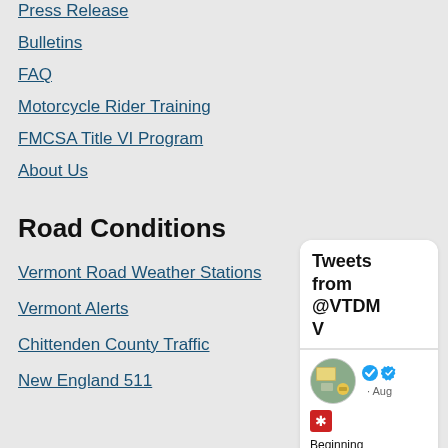Press Release
Bulletins
FAQ
Motorcycle Rider Training
FMCSA Title VI Program
About Us
Road Conditions
Vermont Road Weather Stations
Vermont Alerts
Chittenden County Traffic
New England 511
[Figure (screenshot): Tweets from @VTDMV Twitter widget showing verified account avatar and a tweet beginning with 'Beginning']